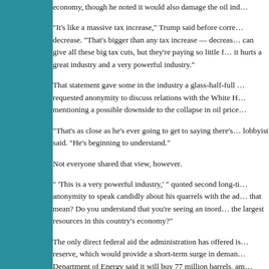economy, though he noted it would also damage the oil ind…
“It’s like a massive tax increase,” Trump said before corre… decrease. “That’s bigger than any tax increase — decreas… can give all these big tax cuts, but they’re paying so little f… it hurts a great industry and a very powerful industry.”
That statement gave some in the industry a glass-half-full … requested anonymity to discuss relations with the White H… mentioning a possible downside to the collapse in oil price…
“That’s as close as he’s ever going to get to saying there’s… lobbyist said. “He’s beginning to understand.”
Not everyone shared that view, however.
“ ‘This is a very powerful industry,’ ” quoted second long-ti… anonymity to speak candidly about his quarrels with the ad… that mean? Do you understand that you’re seeing an inord… the largest resources in this country’s economy?”
The only direct federal aid the administration has offered is… reserve, which would provide a short-term surge in deman… Department of Energy said it will buy 77 million barrels, am… Republicans offered $3 billion in an aid bill they offered Su… enough votes. But even that volume would be a relative dr… is talking of increasing its own production by more than 3…